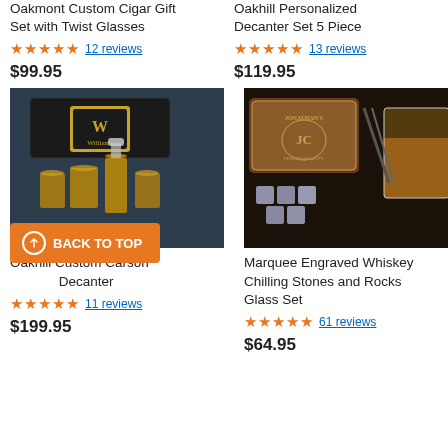Oakmont Custom Cigar Gift Set with Twist Glasses
★★★★★ 12 reviews
$99.95
Oakhill Personalized Decanter Set 5 Piece
★★★★★ 13 reviews
$119.95
[Figure (photo): Oakhill Custom Carson Decanter set with glasses in black box]
[Figure (photo): Marquee Engraved Whiskey Chilling Stones and Rocks Glass Set with wooden box]
Oakhill Custom Carson Decanter
Marquee Engraved Whiskey Chilling Stones and Rocks Glass Set
★★★★★ 11 reviews
★★★★★ 61 reviews
$199.95
$64.95